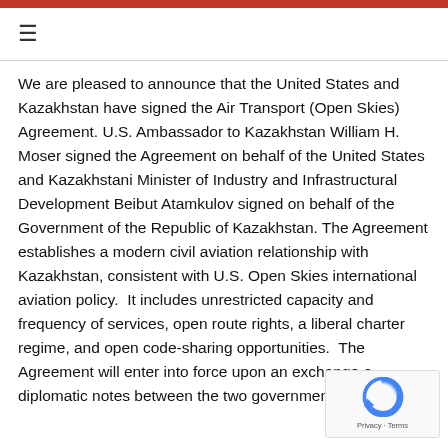≡
We are pleased to announce that the United States and Kazakhstan have signed the Air Transport (Open Skies) Agreement. U.S. Ambassador to Kazakhstan William H. Moser signed the Agreement on behalf of the United States and Kazakhstani Minister of Industry and Infrastructural Development Beibut Atamkulov signed on behalf of the Government of the Republic of Kazakhstan. The Agreement establishes a modern civil aviation relationship with Kazakhstan, consistent with U.S. Open Skies international aviation policy.  It includes unrestricted capacity and frequency of services, open route rights, a liberal charter regime, and open code-sharing opportunities.  The Agreement will enter into force upon an exchange of diplomatic notes between the two governments.